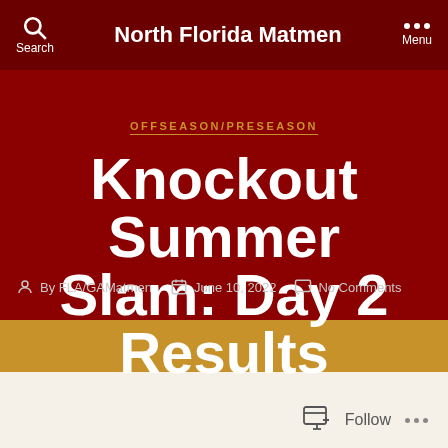North Florida Matmen
OFFSEASON/PRESEASON
Knockout Summer Slam: Day 2 Results
By FLA/GAMatmen  June 10, 2022  No Comments